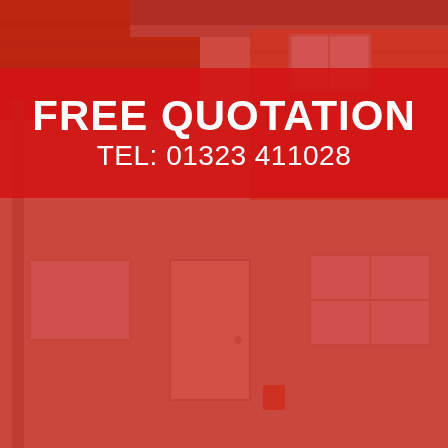[Figure (photo): Exterior photograph of a residential house, showing a tiled roof, white front door, windows, and brick facade. The image is heavily overlaid with a red tint/color wash covering most of the photo.]
FREE QUOTATION
TEL: 01323 411028